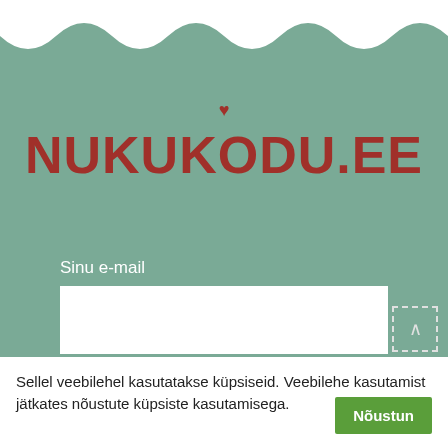[Figure (illustration): Wave-shaped white decorative border at the top of a teal/sage green background]
NUKUKODU.EE
Sinu e-mail
Sinu nimi
Sellel veebilehel kasutatakse küpsiseid. Veebilehe kasutamist jätkates nõustute küpsiste kasutamisega. Nõustun